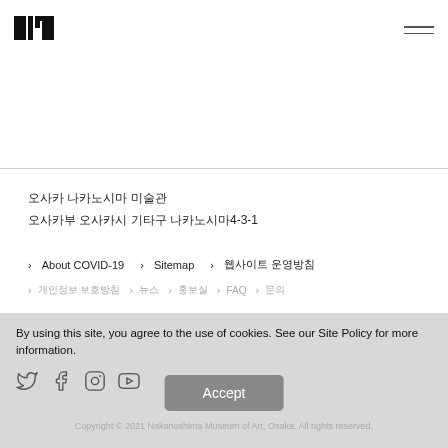[Figure (logo): Black geometric logo resembling stylized letters on white background]
[Figure (illustration): Hamburger menu icon (three horizontal lines)]
오사카 나카노시마 미술관
오사카부 오사카시 기타구 나카노시마4-3-1
> About COVID-19
> Sitemap
> 웹사이트 운영방침
> 개인정보 보호방침
> 뉴스
> 홍보실
> FAQ
> 문의
By using this site, you agree to the use of cookies. See our Site Policy for more information.
[Figure (illustration): Social media icons: Twitter, Facebook, Instagram, YouTube]
Copyright © 2021 Nakanoshima Museum of Art, Osaka. All rights reserved.